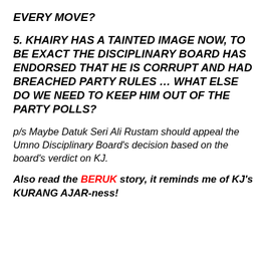EVERY MOVE?
5. KHAIRY HAS A TAINTED IMAGE NOW, TO BE EXACT THE DISCIPLINARY BOARD HAS ENDORSED THAT HE IS CORRUPT AND HAD BREACHED PARTY RULES … WHAT ELSE DO WE NEED TO KEEP HIM OUT OF THE PARTY POLLS?
p/s Maybe Datuk Seri Ali Rustam should appeal the Umno Disciplinary Board's decision based on the board's verdict on KJ.
Also read the BERUK story, it reminds me of KJ's KURANG AJAR-ness!